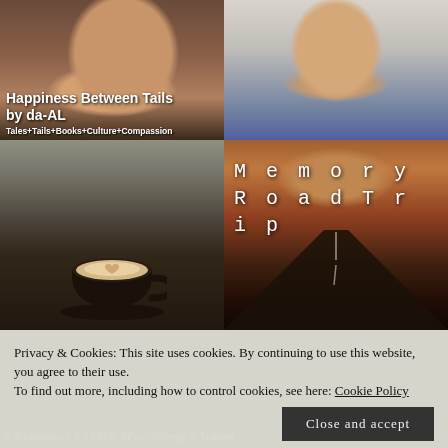[Figure (photo): Woman holding a black dog in front of a brick wall, smiling. Blog header image for 'Happiness Between Tails by da-AL' with subtitle 'Tales+Tails+Books+Culture+Compassion']
[Figure (photo): Portrait of a woman with short brown hair, wearing a dark sleeveless top, smiling]
[Figure (photo): Coffee latte in a dark mug on a wooden table outdoors with a wooden railing in the background]
[Figure (illustration): Memory Road Trip blog header with spaced lettering on a desert road landscape with orange-red terrain]
Privacy & Cookies: This site uses cookies. By continuing to use this website, you agree to their use.
To find out more, including how to control cookies, see here: Cookie Policy
Close and accept
# Resistance #ASMR #Psychology #Autism